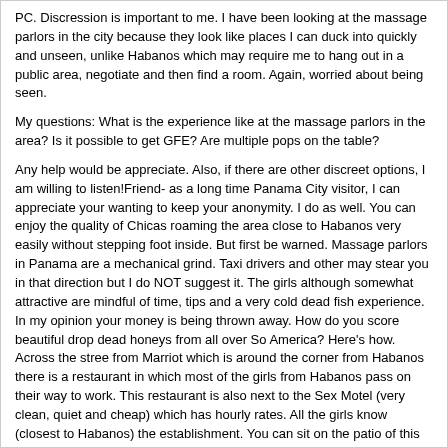PC. Discression is important to me. I have been looking at the massage parlors in the city because they look like places I can duck into quickly and unseen, unlike Habanos which may require me to hang out in a public area, negotiate and then find a room. Again, worried about being seen.
My questions: What is the experience like at the massage parlors in the area? Is it possible to get GFE? Are multiple pops on the table?
Any help would be appreciate. Also, if there are other discreet options, I am willing to listen!Friend- as a long time Panama City visitor, I can appreciate your wanting to keep your anonymity. I do as well. You can enjoy the quality of Chicas roaming the area close to Habanos very easily without stepping foot inside. But first be warned. Massage parlors in Panama are a mechanical grind. Taxi drivers and other may stear you in that direction but I do NOT suggest it. The girls although somewhat attractive are mindful of time, tips and a very cold dead fish experience. In my opinion your money is being thrown away. How do you score beautiful drop dead honeys from all over So America? Here's how. Across the stree from Marriot which is around the corner from Habanos there is a restaurant in which most of the girls from Habanos pass on their way to work. This restaurant is also next to the Sex Motel (very clean, quiet and cheap) which has hourly rates. All the girls know (closest to Habanos) the establishment. You can sit on the patio of this restaurant and do cocktails and enjoy good food for very low prices. The chicas will stop and mingle if you offer them something. I took a group of guys from Australia there and used this place as a back up option from Habanos. We flagged over half a dozen beauties from Venezuela, Colombia, Peru and DR. It's off the beaten path and you can send your favorite honey over to the hotel. She'll wait for you. You can then slip in and out with nobody seeing your movements. A great alternative to massage joints. The fun of Panama is negotiating with the women. Believe me you'll see some of the best looking women on this planet in or near Habanos. Another great option is the small cigar lounge adjacent to Habanos. You can hang inside with total anonymity or sit outside on the patio. This gives you the option of seeing all of the action inside a Habanos without actually being there. Once I see my type of Chica, I'll flag them down or send a waitress next door to pull them out for me. Don't worry they'll come running if you give them eye contact. Once they join you take them inside to keep your privacy. After a cocktail slip in and out either to the love motel or a taxi to take you somewhere more private. I've been playing this way for 8 years and have